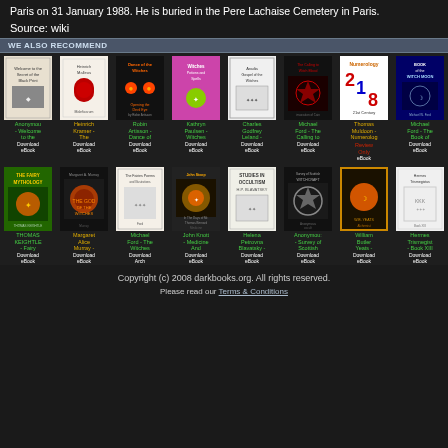Paris on 31 January 1988. He is buried in the Pere Lachaise Cemetery in Paris.
Source: wiki
WE ALSO RECOMMEND
[Figure (other): Grid of 16 book covers with titles and download links for occult/esoteric books]
Copyright (c) 2008 darkbooks.org. All rights reserved. Please read our Terms & Conditions